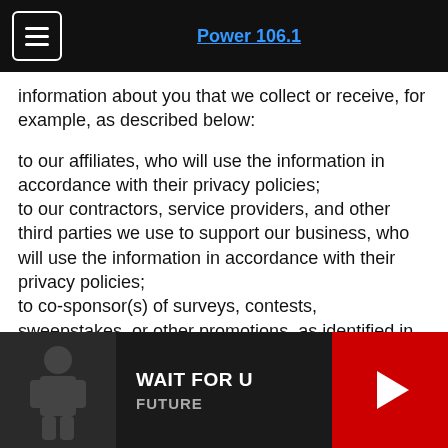Power 106.1 [navigation header]
information about you that we collect or receive, for example, as described below:
to our affiliates, who will use the information in accordance with their privacy policies;
to our contractors, service providers, and other third parties we use to support our business, who will use the information in accordance with their privacy policies;
to co-sponsor(s) of surveys, contests, sweepstakes, or other promotions, as identified in the applicable official rules, if you enter such promotions;
to fulfill the purpose for which you provide it.  For example, if you give us an email address to use the
WAIT FOR U — FUTURE [media player]